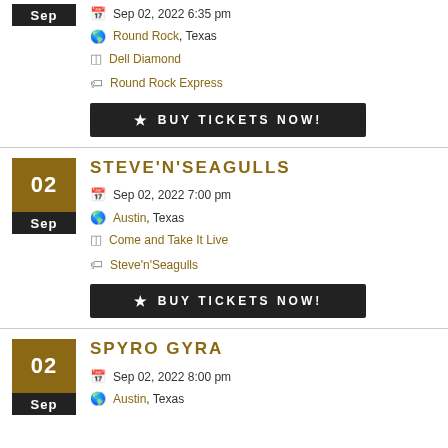Sep 02, 2022 6:35 pm | Round Rock, Texas | Dell Diamond | Round Rock Express | BUY TICKETS NOW!
STEVE'N'SEAGULLS | Sep 02, 2022 7:00 pm | Austin, Texas | Come and Take It Live | Steve'n'Seagulls | BUY TICKETS NOW!
SPYRO GYRA | Sep 02, 2022 8:00 pm | Austin, Texas